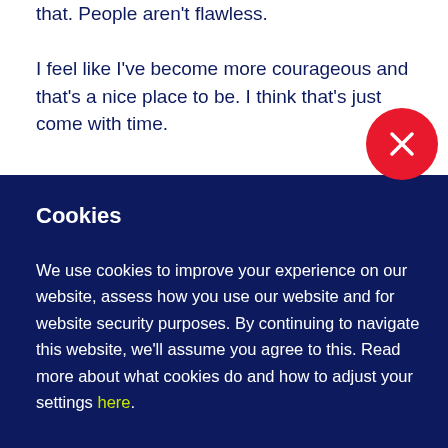that. People aren't flawless.
I feel like I've become more courageous and that's a nice place to be. I think that's just come with time.
Cookies
We use cookies to improve your experience on our website, assess how you use our website and for website security purposes. By continuing to navigate this website, we'll assume you agree to this. Read more about what cookies do and how to adjust your settings here.